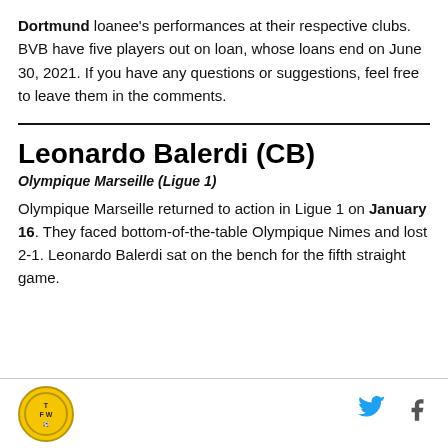Dortmund loanee's performances at their respective clubs. BVB have five players out on loan, whose loans end on June 30, 2021. If you have any questions or suggestions, feel free to leave them in the comments.
Leonardo Balerdi (CB)
Olympique Marseille (Ligue 1)
Olympique Marseille returned to action in Ligue 1 on January 16. They faced bottom-of-the-table Olympique Nimes and lost 2-1. Leonardo Balerdi sat on the bench for the fifth straight game.
TFW logo | Twitter | Facebook